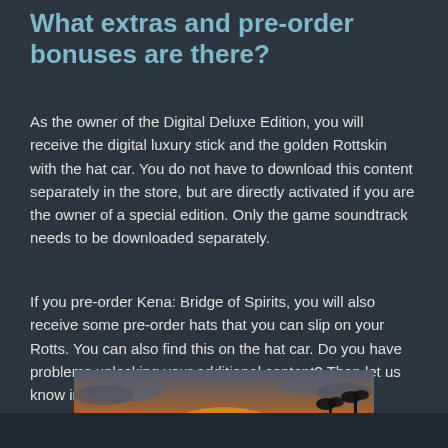What extras and pre-order bonuses are there?
As the owner of the Digital Deluxe Edition, you will receive the digital luxury stick and the golden Rottskin with the hat car. You do not have to download this content separately in the store, but are directly activated if you are the owner of a special edition. Only the game soundtrack needs to be downloaded separately.
If you pre-order Kena: Bridge of Spirits, you will also receive some pre-order hats that you can slip on your Rotts. You can also find this on the hat car. Do you have problems unlocking your additional content? Then let us know in the comments!
[Figure (photo): A sunset photo showing an orange glowing sky with silhouettes of palm trees and buildings against the horizon.]